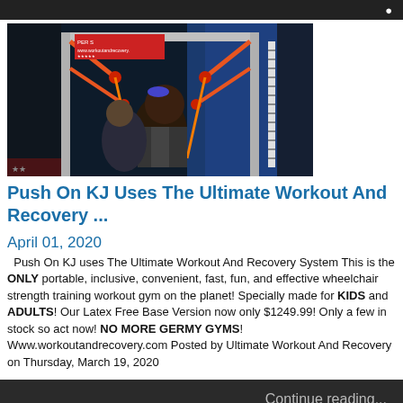[Figure (photo): A young person using gym/workout equipment with resistance bands on a frame structure, visible at a trade show or exhibition booth with a banner reading workoutandrecovery.com]
Push On KJ Uses The Ultimate Workout And Recovery ...
April 01, 2020
Push On KJ uses The Ultimate Workout And Recovery System This is the ONLY portable, inclusive, convenient, fast, fun, and effective wheelchair strength training workout gym on the planet! Specially made for KIDS and ADULTS! Our Latex Free Base Version now only $1249.99! Only a few in stock so act now! NO MORE GERMY GYMS! Www.workoutandrecovery.com Posted by Ultimate Workout And Recovery on Thursday, March 19, 2020
Continue reading...
[Figure (photo): Partial view of another article image showing fitness-related content with purple background]